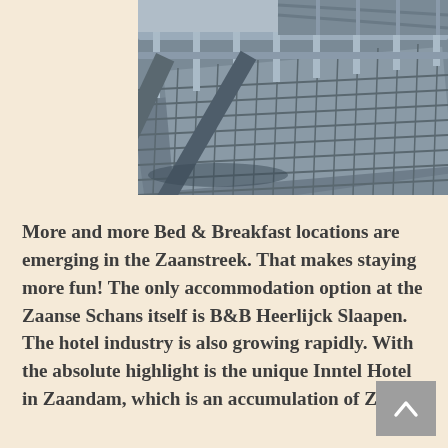[Figure (photo): Close-up photo of metal industrial walkway/bridge structure with railings and grating, shot from below at an angle, showing steel beams and handrails against a grey sky.]
More and more Bed & Breakfast locations are emerging in the Zaanstreek. That makes staying more fun! The only accommodation option at the Zaanse Schans itself is B&B Heerlijck Slaapen. The hotel industry is also growing rapidly. With the absolute highlight is the unique Inntel Hotel in Zaandam, which is an accumulation of Zaanse